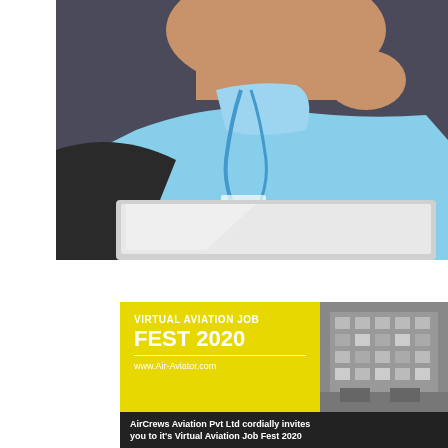[Figure (photo): Close-up photo of a person wearing a light blue turtleneck sweater and a blue lanyard/badge, looking down at a laptop screen. The photo is cropped to show the lower face, neck, torso, and laptop.]
[Figure (infographic): Promotional banner for Virtual Aviation Job Fest 2020 by Air-Aviator.com. Yellow section on left reads 'VIRTUAL AVIATION JOB FEST 2020' with website www.Air-Aviator.com. Right section shows a grayscale city building photo. Bottom dark bar reads 'AirCrews Aviation Pvt Ltd cordially invites you to it's Virtual Aviation Job Fest 2020'.]